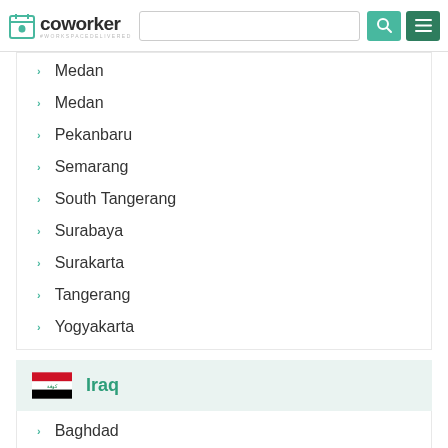coworker #WORKSPACEDELIVERED
Medan
Medan
Pekanbaru
Semarang
South Tangerang
Surabaya
Surakarta
Tangerang
Yogyakarta
Iraq
Baghdad
Erbil